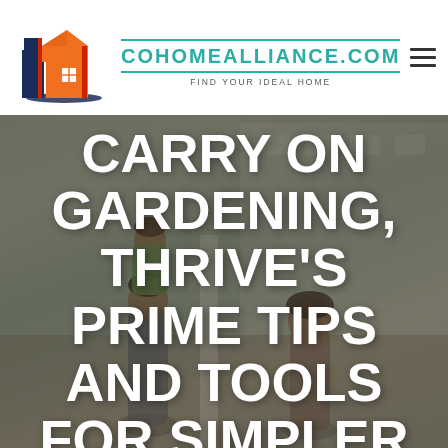[Figure (logo): CoHome Alliance building/house logo with red, orange, and navy blue geometric shapes]
COHOMEALLIANCE.COM
FIND YOUR IDEAL HOME
[Figure (photo): Family outdoors near a home, father with child on shoulders, woman smiling]
CARRY ON GARDENING, THRIVE'S PRIME TIPS AND TOOLS FOR SIMPLER GARDENING AND GARDENING